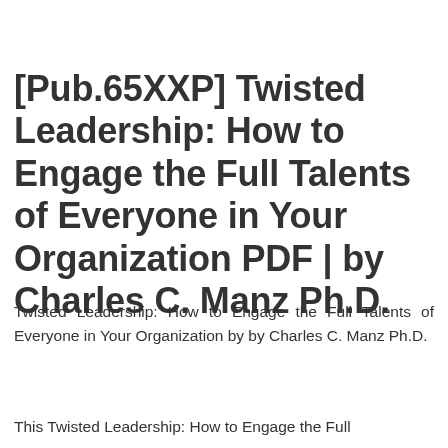[Pub.65XXP] Twisted Leadership: How to Engage the Full Talents of Everyone in Your Organization PDF | by Charles C. Manz Ph.D.
Twisted Leadership: How to Engage the Full Talents of Everyone in Your Organization by by Charles C. Manz Ph.D.
This Twisted Leadership: How to Engage the Full